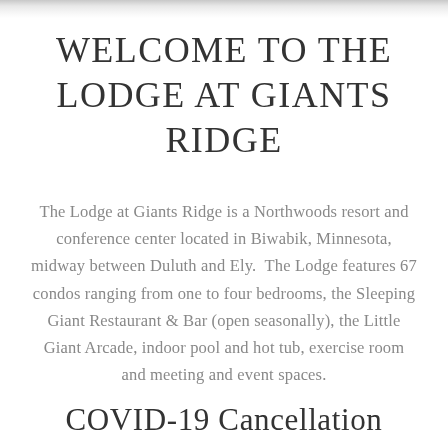WELCOME TO THE LODGE AT GIANTS RIDGE
The Lodge at Giants Ridge is a Northwoods resort and conference center located in Biwabik, Minnesota, midway between Duluth and Ely.  The Lodge features 67 condos ranging from one to four bedrooms, the Sleeping Giant Restaurant & Bar (open seasonally), the Little Giant Arcade, indoor pool and hot tub, exercise room and meeting and event spaces.
COVID-19 Cancellation